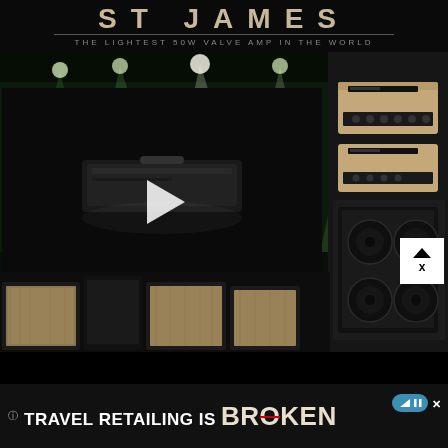ST JAMES
THE LIGHTEST 50W VALVE AMP IN THE WORLD
[Figure (screenshot): Dark webpage showing a guitar amplifier product page. Top area shows a stage with dramatic green-tinted spotlight beams. Center has a dark video player overlay with a white play button triangle, showing a guitar amp product on dark background. Right side shows a stack of beige/tan Marshall-style guitar amplifier heads and cabinet. Bottom shows a row of wooden speaker cabinets. An advertisement banner at the bottom reads 'TRAVEL RETAILING IS BROKEN'. A white close button with chevron is visible at right.]
TRAVEL RETAILING IS BROKEN